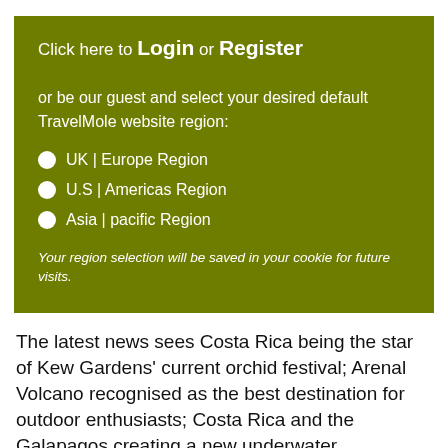Click here to Login or Register
or be our guest and select your desired default TravelMole website region:
UK | Europe Region
U.S | Americas Region
Asia | pacific Region
Your region selection will be saved in your cookie for future visits.
The latest news sees Costa Rica being the star of Kew Gardens' current orchid festival; Arenal Volcano recognised as the best destination for outdoor enthusiasts; Costa Rica and the Galapagos creating a new underwater conservation zone; and traditional "cimarrons"